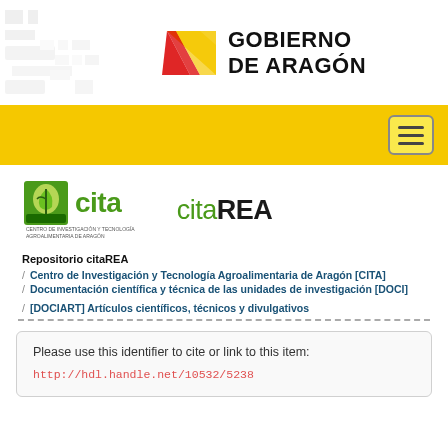[Figure (logo): Gobierno de Aragón logo with coat of arms stripes and text]
[Figure (logo): Yellow navigation bar with hamburger menu button]
[Figure (logo): CITA logo (leaf icon) and citaREA logo]
Repositorio citaREA
Centro de Investigación y Tecnología Agroalimentaria de Aragón [CITA]
Documentación científica y técnica de las unidades de investigación [DOCI]
[DOCIART] Artículos científicos, técnicos y divulgativos
Please use this identifier to cite or link to this item:
http://hdl.handle.net/10532/5238